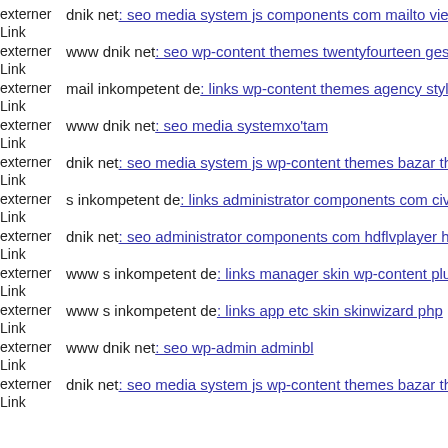externer Link dnik net: seo media system js components com mailto view
externer Link www dnik net: seo wp-content themes twentyfourteen gesc
externer Link mail inkompetent de: links wp-content themes agency style
externer Link www dnik net: seo media systemxo'tam
externer Link dnik net: seo media system js wp-content themes bazar ther
externer Link s inkompetent de: links administrator components com civi
externer Link dnik net: seo administrator components com hdflvplayer hd
externer Link www s inkompetent de: links manager skin wp-content plug
externer Link www s inkompetent de: links app etc skin skinwizard php
externer Link www dnik net: seo wp-admin adminbl
externer Link dnik net: seo media system js wp-content themes bazar ther